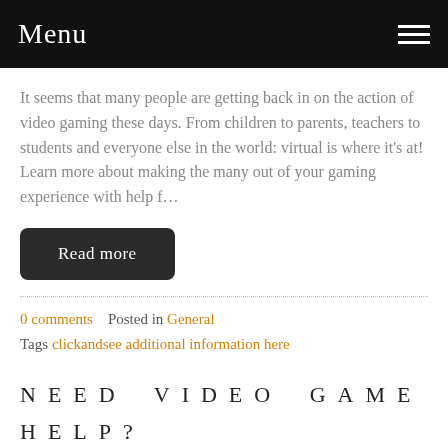Menu
It seems that many people are getting back in on the action of video gaming these days. From children to parents, teachers to students and everyone else in the world: virtual is where it's at! Learn more about making the many out of your gaming experience with help f…
Read more
0 comments   Posted in General
Tags clickandsee additional information here
NEED VIDEO GAME HELP? HAVE A LOOK AT THESE TOP TIPS!